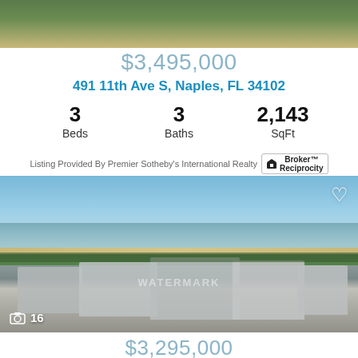[Figure (photo): Top strip of property exterior with trees and landscaping]
$3,495,000
491 11th Ave S, Naples, FL 34102
3 Beds   3 Baths   2,143 SqFt
Listing Provided By Premier Sotheby's International Realty  [Broker Reciprocity]
[Figure (photo): Aerial view of beachfront residential properties in Naples FL with ocean in background, heart/favorite icon top right, camera icon and count '16' bottom left]
$3,295,000